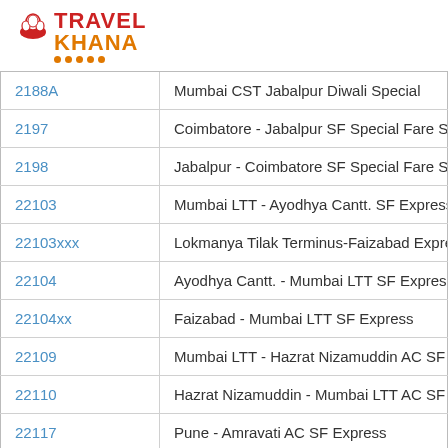[Figure (logo): TravelKhana logo with chef hat icon and orange dots]
| 2188A | Mumbai CST Jabalpur Diwali Special |
| 2197 | Coimbatore - Jabalpur SF Special Fare Spe... |
| 2198 | Jabalpur - Coimbatore SF Special Fare Spe... |
| 22103 | Mumbai LTT - Ayodhya Cantt. SF Express (P... |
| 22103xxx | Lokmanya Tilak Terminus-Faizabad Express... |
| 22104 | Ayodhya Cantt. - Mumbai LTT SF Express |
| 22104xx | Faizabad - Mumbai LTT SF Express |
| 22109 | Mumbai LTT - Hazrat Nizamuddin AC SF Ex... |
| 22110 | Hazrat Nizamuddin - Mumbai LTT AC SF Ex... |
| 22117 | Pune - Amravati AC SF Express |